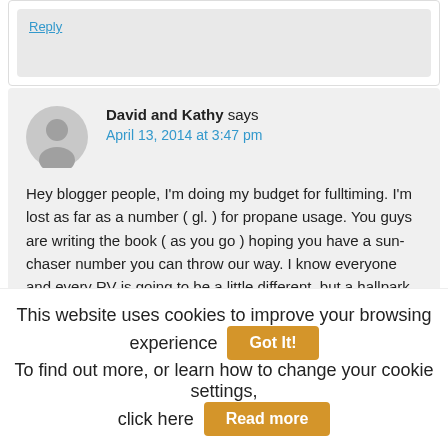Reply
David and Kathy says
April 13, 2014 at 3:47 pm
Hey blogger people, I'm doing my budget for fulltiming. I'm lost as far as a number ( gl. ) for propane usage. You guys are writing the book ( as you go ) hoping you have a sun-chaser number you can throw our way. I know everyone and every RV is going to be a little different, but a hallpark number
This website uses cookies to improve your browsing experience  Got It!  To find out more, or learn how to change your cookie settings, click here  Read more